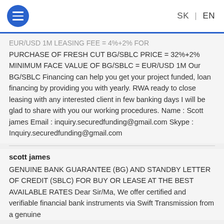SK | EN
EUR/USD 1M LEASING FEE = 4%+2% FOR PURCHASE OF FRESH CUT BG/SBLC PRICE = 32%+2% MINIMUM FACE VALUE OF BG/SBLC = EUR/USD 1M Our BG/SBLC Financing can help you get your project funded, loan financing by providing you with yearly. RWA ready to close leasing with any interested client in few banking days I will be glad to share with you our working procedures. Name : Scott james Email : inquiry.securedfunding@gmail.com Skype : Inquiry.securedfunding@gmail.com
scott james
GENUINE BANK GUARANTEE (BG) AND STANDBY LETTER OF CREDIT (SBLC) FOR BUY OR LEASE AT THE BEST AVAILABLE RATES Dear Sir/Ma, We offer certified and verifiable financial bank instruments via Swift Transmission from a genuine...